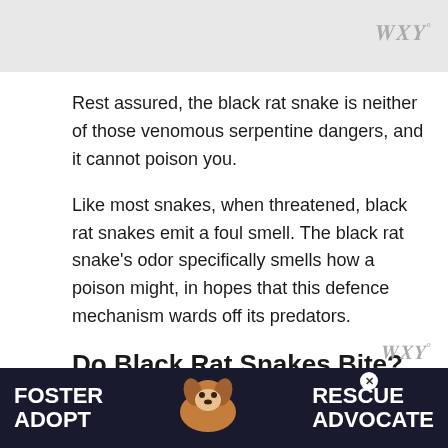Rest assured, the black rat snake is neither of those venomous serpentine dangers, and it cannot poison you.
Like most snakes, when threatened, black rat snakes emit a foul smell. The black rat snake's odor specifically smells how a poison might, in hopes that this defence mechanism wards off its predators.
Do Black Rat Snakes Bite?
Black rat snakes are diurnal, meaning they live their lives in the daytime. However, if you e... ve
[Figure (advertisement): Ad banner reading FOSTER ADOPT RESCUE ADVOCATE with a dog image in the center on dark navy background]